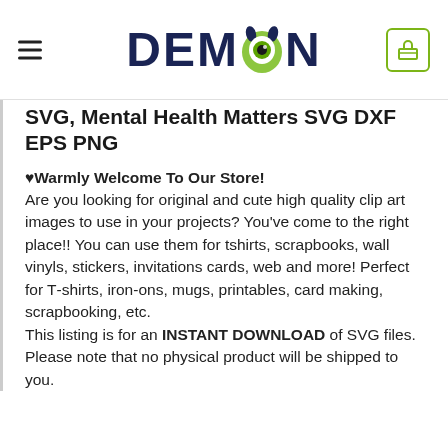DEMON
SVG, Mental Health Matters SVG DXF EPS PNG
♥Warmly Welcome To Our Store! Are you looking for original and cute high quality clip art images to use in your projects? You've come to the right place!! You can use them for tshirts, scrapbooks, wall vinyls, stickers, invitations cards, web and more! Perfect for T-shirts, iron-ons, mugs, printables, card making, scrapbooking, etc. This listing is for an INSTANT DOWNLOAD of SVG files. Please note that no physical product will be shipped to you.